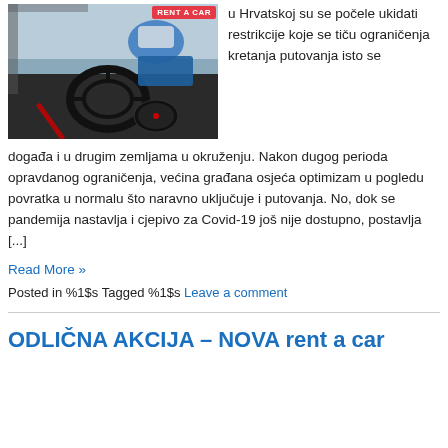[Figure (photo): Photo of a person in blue gloves wiping/cleaning a car steering wheel interior]
u Hrvatskoj su se počele ukidati restrikcije koje se tiču ograničenja kretanja putovanja isto se događa i u drugim zemljama u okruženju. Nakon dugog perioda opravdanog ograničenja, većina građana osjeća optimizam u pogledu povratka u normalu što naravno uključuje i putovanja. No, dok se pandemija nastavlja i cjepivo za Covid-19 još nije dostupno, postavlja [...]
Read More »
Posted in %1$s Tagged %1$s Leave a comment
ODLIČNA AKCIJA – NOVA rent a car